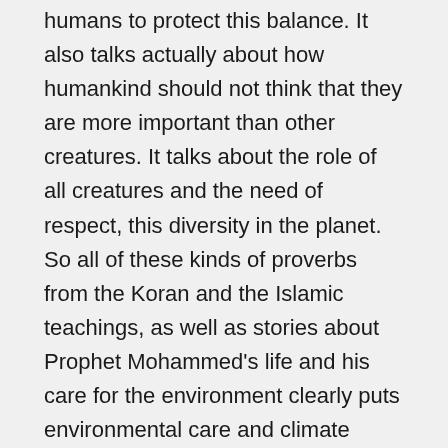humans to protect this balance. It also talks actually about how humankind should not think that they are more important than other creatures. It talks about the role of all creatures and the need of respect, this diversity in the planet. So all of these kinds of proverbs from the Koran and the Islamic teachings, as well as stories about Prophet Mohammed's life and his care for the environment clearly puts environmental care and climate change key issue for an Islamic teaching and hearing strong statements saying that it is forbidden not to phase out greenhouse gas emissions coming from Islamic scholars is something very inspiring even for climate activists.
CURWOOD: I have a copy of the Koran, the translation is the Yusuf Ali translation. The very first versus says "Glory to God most high full of grace and mercy. He created all,